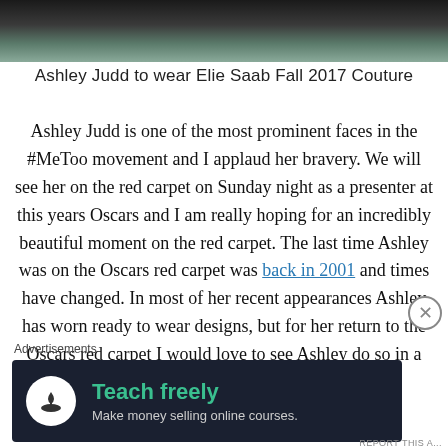[Figure (photo): Partial photo strip at top of page showing dark background with blue/teal fur texture and figures]
Ashley Judd to wear Elie Saab Fall 2017 Couture
Ashley Judd is one of the most prominent faces in the #MeToo movement and I applaud her bravery. We will see her on the red carpet on Sunday night as a presenter at this years Oscars and I am really hoping for an incredibly beautiful moment on the red carpet. The last time Ashley was on the Oscars red carpet was back in 2001 and times have changed. In most of her recent appearances Ashley has worn ready to wear designs, but for her return to the Oscars red carpet I would love to see Ashley do so in a major moment. I
Advertisements
[Figure (screenshot): Advertisement banner with dark navy background showing a white circle icon with tree/person logo, green bold text 'Teach freely', and grey subtext 'Make money selling online courses.']